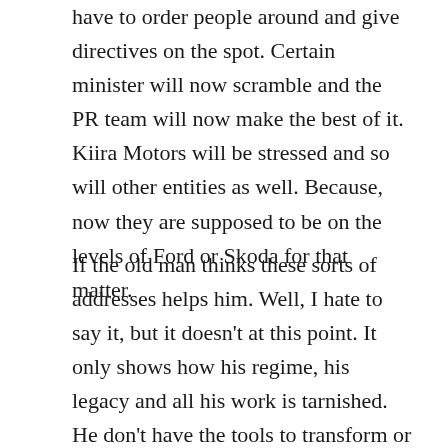have to order people around and give directives on the spot. Certain minister will now scramble and the PR team will now make the best of it. Kiira Motors will be stressed and so will other entities as well. Because, now they are supposed to be on the levels of Ford or Skoda for that matter.
If the old man thinks these sorts of addresses helps him. Well, I hate to say it, but it doesn't at this point. It only shows how his regime, his legacy and all his work is tarnished. He don't have the tools to transform or equip the nation to change to electric. Neither has there been policies, investments or at a scale to make it possible. That's because the army has been the priority and the life-line of his reign. If the army had been the standard of good living and a prosperous nation, than Uganda would be